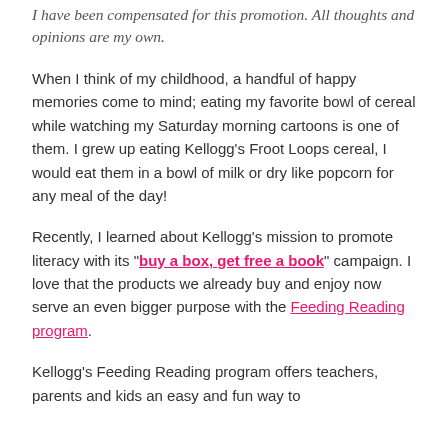I have been compensated for this promotion. All thoughts and opinions are my own.
When I think of my childhood, a handful of happy memories come to mind; eating my favorite bowl of cereal while watching my Saturday morning cartoons is one of them. I grew up eating Kellogg's Froot Loops cereal, I would eat them in a bowl of milk or dry like popcorn for any meal of the day!
Recently, I learned about Kellogg's mission to promote literacy with its "buy a box, get free a book" campaign. I love that the products we already buy and enjoy now serve an even bigger purpose with the Feeding Reading program.
Kellogg's Feeding Reading program offers teachers, parents and kids an easy and fun way to